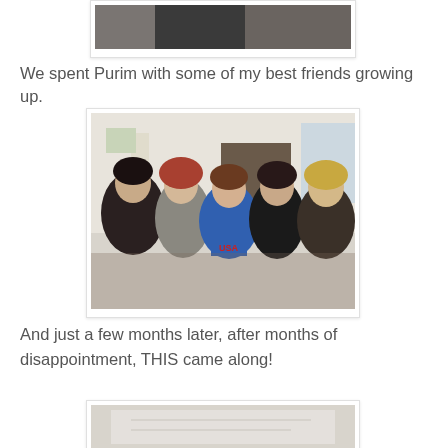[Figure (photo): Top portion of a photo showing people, partially cropped at top of page]
We spent Purim with some of my best friends growing up.
[Figure (photo): Group photo of five young women smiling together indoors, one wearing a USA cheerleader outfit]
And just a few months later, after months of disappointment, THIS came along!
[Figure (photo): Partially visible photo at bottom of page, appears to show a light-colored document or paper]